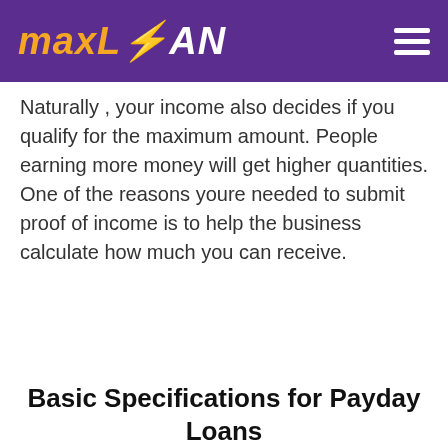maxLOAN
Naturally , your income also decides if you qualify for the maximum amount. People earning more money will get higher quantities. One of the reasons youre needed to submit proof of income is to help the business calculate how much you can receive.
Basic Specifications for Payday Loans in Matteson, IL
[Figure (other): Green Apply Now button]
Applying does NOT affect your credit score! No credit check to apply.